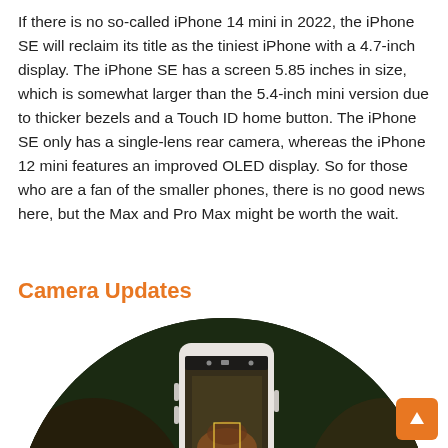If there is no so-called iPhone 14 mini in 2022, the iPhone SE will reclaim its title as the tiniest iPhone with a 4.7-inch display. The iPhone SE has a screen 5.85 inches in size, which is somewhat larger than the 5.4-inch mini version due to thicker bezels and a Touch ID home button. The iPhone SE only has a single-lens rear camera, whereas the iPhone 12 mini features an improved OLED display. So for those who are a fan of the smaller phones, there is no good news here, but the Max and Pro Max might be worth the wait.
Camera Updates
[Figure (photo): A circular-cropped photo showing a person holding an iPhone, photographing a scene. The background is dark and blurred (bokeh), with dark greens and browns. The phone has a white/light case and its screen shows a camera viewfinder.]